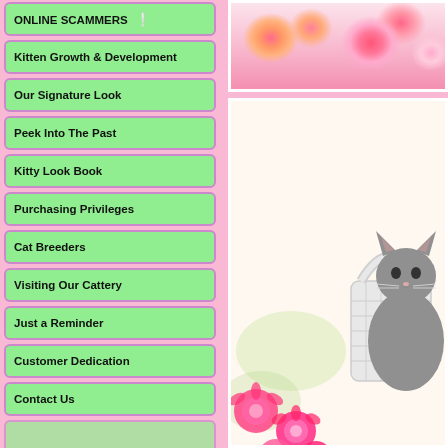ONLINE SCAMMERS !
Kitten Growth & Development
Our Signature Look
Peek Into The Past
Kitty Look Book
Purchasing Privileges
Cat Breeders
Visiting Our Cattery
Just a Reminder
Customer Dedication
Contact Us
[Figure (photo): Close-up of colorful pink and orange roses]
[Figure (photo): Gray cat sitting in a white wicker basket surrounded by pink roses]